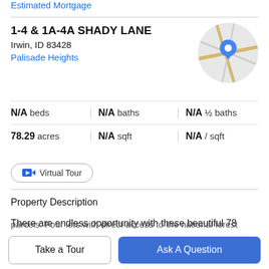Estimated Mortgage
1-4 & 1A-4A SHADY LANE
Irwin, ID 83428
Palisade Heights
[Figure (map): Circular map thumbnail with a blue location pin marker on a road map.]
N/A beds | N/A baths | N/A ½ baths
78.29 acres | N/A sqft | N/A / sqft
Virtual Tour
Property Description
There are endless opportunity with these beautiful 78 acres atop Shady Lane with spectacular views of the
parcels. Four lots with direct access to the national forest
Take a Tour
Ask A Question